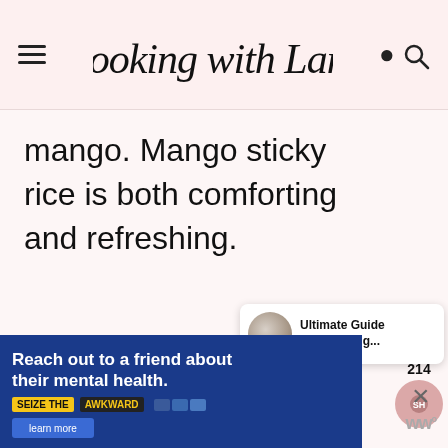Cooking with Lane
mango. Mango sticky rice is both comforting and refreshing.
214
[Figure (other): Popup card with food photo thumbnail and text: Ultimate Guide to Choosing...]
[Figure (other): Advertisement banner: Reach out to a friend about their mental health. SEIZE THE AWKWARD]